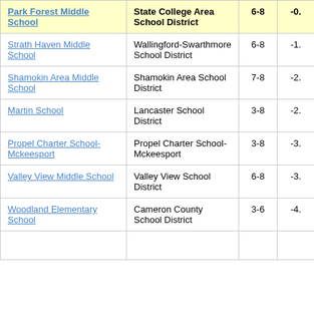| School | District | Grades | Score |
| --- | --- | --- | --- |
| Park Forest Middle School | State College Area School District | 6-8 | -0. |
| Strath Haven Middle School | Wallingford-Swarthmore School District | 6-8 | -1. |
| Shamokin Area Middle School | Shamokin Area School District | 7-8 | -2. |
| Martin School | Lancaster School District | 3-8 | -2. |
| Propel Charter School-Mckeesport | Propel Charter School-Mckeesport | 3-8 | -3. |
| Valley View Middle School | Valley View School District | 6-8 | -3. |
| Woodland Elementary School | Cameron County School District | 3-6 | -4. |
| (Philadelphia Sc... |  |  |  |